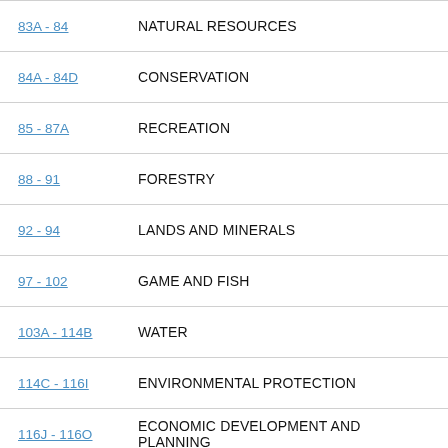83A - 84   NATURAL RESOURCES
84A - 84D   CONSERVATION
85 - 87A   RECREATION
88 - 91   FORESTRY
92 - 94   LANDS AND MINERALS
97 - 102   GAME AND FISH
103A - 114B   WATER
114C - 116I   ENVIRONMENTAL PROTECTION
116J - 116O   ECONOMIC DEVELOPMENT AND PLANNING
116P - 116Q   ENVIRONMENTAL PROTECTION FUNDS
116R - 116W   BUSINESS DEVELOPMENT
117 - 119   EMINENT DOMAIN; LOCAL REPOSITORIES AND